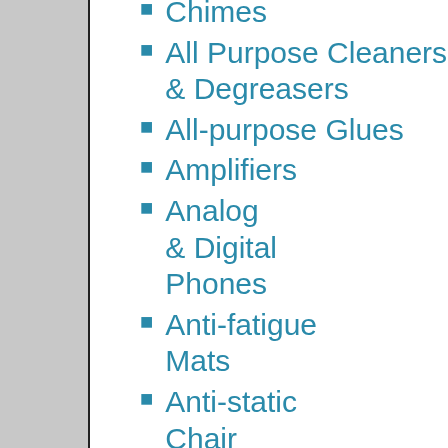Chimes
All Purpose Cleaners & Degreasers
All-purpose Glues
Amplifiers
Analog & Digital Phones
Anti-fatigue Mats
Anti-static Chair Mats
Appointment Book Refills
Appointment Books